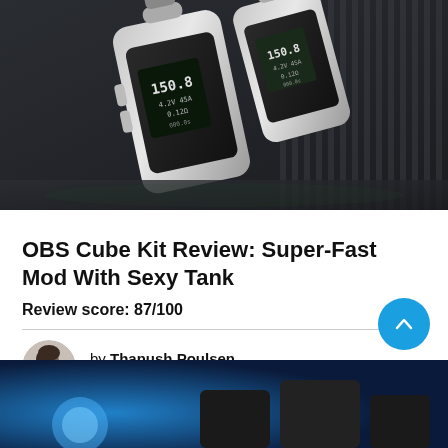[Figure (photo): Product photo of two OBS Cube vape mod kits in silver/black colorway, shown at an angle with digital displays visible, against a dark metallic striped background.]
OBS Cube Kit Review: Super-Fast Mod With Sexy Tank
Review score: 87/100
by Thanush Poulsen
Updated: July 20, 2021
[Figure (photo): Bottom of page partial photo showing vape devices against a blue background.]